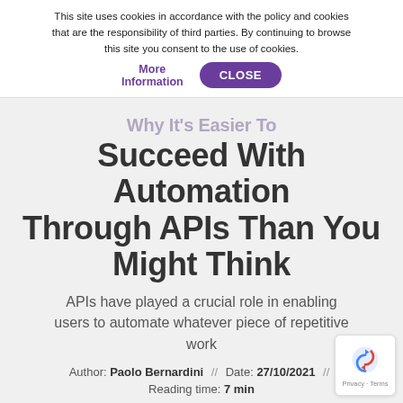This site uses cookies in accordance with the policy and cookies that are the responsibility of third parties. By continuing to browse this site you consent to the use of cookies. More Information  CLOSE
Why It's Easier To Succeed With Automation Through APIs Than You Might Think
APIs have played a crucial role in enabling users to automate whatever piece of repetitive work
Author: Paolo Bernardini  //  Date: 27/10/2021  //  Reading time: 7 min